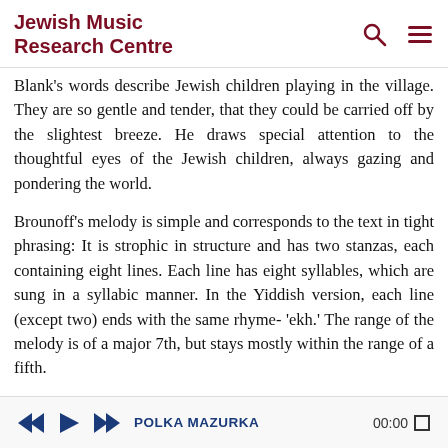Jewish Music Research Centre
Blank's words describe Jewish children playing in the village. They are so gentle and tender, that they could be carried off by the slightest breeze. He draws special attention to the thoughtful eyes of the Jewish children, always gazing and pondering the world.
Brounoff's melody is simple and corresponds to the text in tight phrasing: It is strophic in structure and has two stanzas, each containing eight lines. Each line has eight syllables, which are sung in a syllabic manner. In the Yiddish version, each line (except two) ends with the same rhyme- 'ekh.' The range of the melody is of a major 7th, but stays mostly within the range of a fifth.
The structure of the song is very clear. Each line is fitted
POLKA MAZURKA 00:00